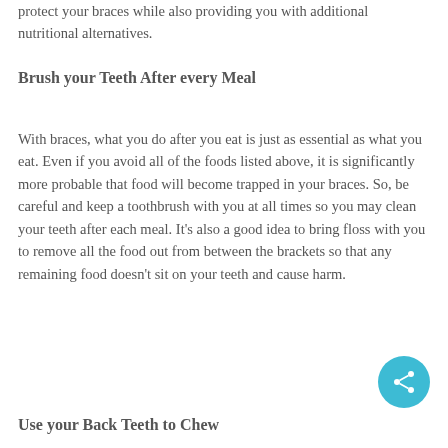protect your braces while also providing you with additional nutritional alternatives.
Brush your Teeth After every Meal
With braces, what you do after you eat is just as essential as what you eat. Even if you avoid all of the foods listed above, it is significantly more probable that food will become trapped in your braces. So, be careful and keep a toothbrush with you at all times so you may clean your teeth after each meal. It’s also a good idea to bring floss with you to remove all the food out from between the brackets so that any remaining food doesn’t sit on your teeth and cause harm.
Use your Back Teeth to Chew